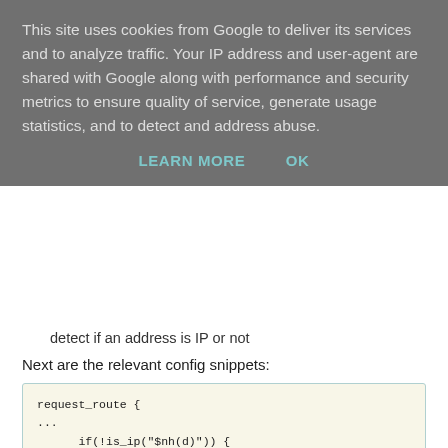This site uses cookies from Google to deliver its services and to analyze traffic. Your IP address and user-agent are shared with Google along with performance and security metrics to ensure quality of service, generate usage statistics, and to detect and address abuse.
LEARN MORE   OK
detect if an address is IP or not
Next are the relevant config snippets:
[Figure (screenshot): Code block showing Kamailio config snippet with request_route block containing is_ip check, async_task_route DNSRELAY call, send_reply 500 Server error, exit, and route[DNSRELAY] block beginning with if(!t_relay()) {]